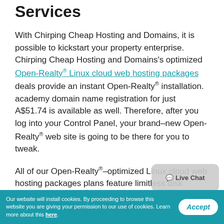Services
With Chirping Cheap Hosting and Domains, it is possible to kickstart your property enterprise. Chirping Cheap Hosting and Domains's optimized Open-Realty® Linux cloud web hosting packages deals provide an instant Open-Realty® installation. academy domain name registration for just A$51.74 is available as well. Therefore, after you log into your Control Panel, your brand–new Open-Realty® web site is going to be there for you to tweak.
All of our Open-Realty®–optimized Linux cloud web hosting packages plans feature limitless disk space, unlimited data traffic and infinite MySQL database storage space
Our website will install cookies. By proceeding to browse this website you are giving your permission to our use of cookies. Learn more about this here.